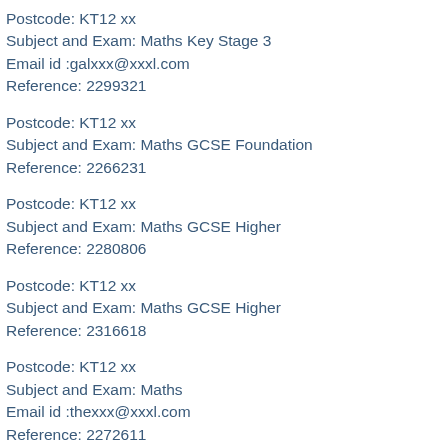Postcode: KT12 xx
Subject and Exam: Maths Key Stage 3
Email id :galxxx@xxxl.com
Reference: 2299321
Postcode: KT12 xx
Subject and Exam: Maths GCSE Foundation
Reference: 2266231
Postcode: KT12 xx
Subject and Exam: Maths GCSE Higher
Reference: 2280806
Postcode: KT12 xx
Subject and Exam: Maths GCSE Higher
Reference: 2316618
Postcode: KT12 xx
Subject and Exam: Maths
Email id :thexxx@xxxl.com
Reference: 2272611
Postcode: KT12 xx
Subject and Exam: Maths
Email id :thexxx@xxxl.com